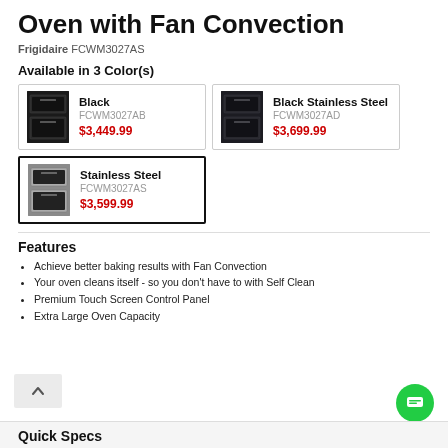Oven with Fan Convection
Frigidaire FCWM3027AS
Available in 3 Color(s)
| Black | FCWM3027AB | $3,449.99 |
| Black Stainless Steel | FCWM3027AD | $3,699.99 |
| Stainless Steel | FCWM3027AS | $3,599.99 |
Features
Achieve better baking results with Fan Convection
Your oven cleans itself - so you don't have to with Self Clean
Premium Touch Screen Control Panel
Extra Large Oven Capacity
Quick Specs